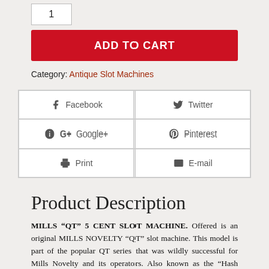1
ADD TO CART
Category: Antique Slot Machines
Facebook
Twitter
Google+
Pinterest
Print
E-mail
Product Description
MILLS “QT” 5 CENT SLOT MACHINE. Offered is an original MILLS NOVELTY “QT” slot machine. This model is part of the popular QT series that was wildly successful for Mills Novelty and its operators. Also known as the “Hash Marks”, for its military patch-like designs on the face of the machine. The QT (meaning “silent” and “small”) and weighing 35 pounds.